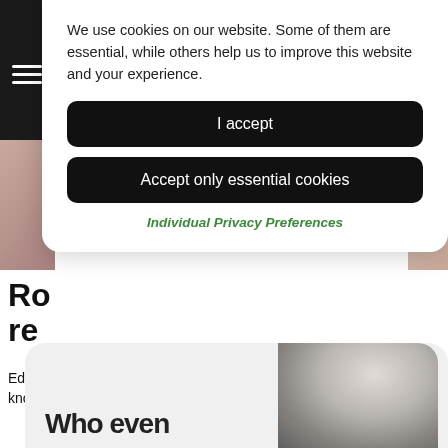We use cookies on our website. Some of them are essential, while others help us to improve this website and your experience.
I accept
Accept only essential cookies
Individual Privacy Preferences
Ro... re...
Editorial credit: AleFron / Shutterstock.com As Gareth Southgate knows only too well, missing a crucial penalty for...
[Figure (photo): Partial black and white photograph of a woman looking upward, with 'Who even' text visible at the bottom]
Who even